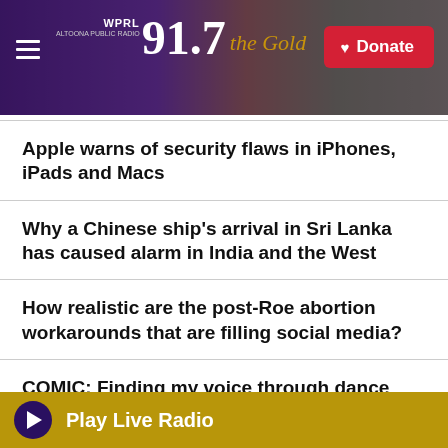[Figure (screenshot): WPRL 91.7 the Gold public radio station header banner with purple background, outdoor house photo, hamburger menu, logo, and red Donate button]
Apple warns of security flaws in iPhones, iPads and Macs
Why a Chinese ship's arrival in Sri Lanka has caused alarm in India and the West
How realistic are the post-Roe abortion workarounds that are filling social media?
COMIC: Finding my voice through dance
Play Live Radio